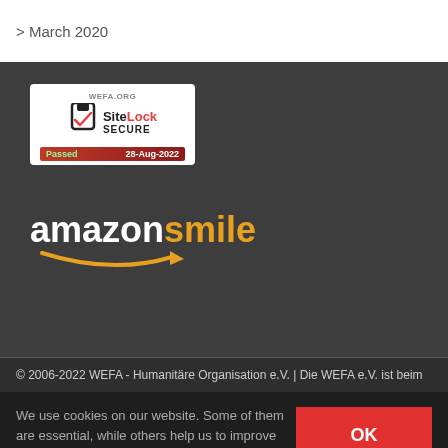> March 2020
[Figure (logo): SiteLock SECURE badge for WEFA.ORG, Passed 28-Aug-2022]
[Figure (logo): Amazon Smile logo with orange smile arrow]
© 2006-2022 WEFA - Humanitäre Organisation e.V. | Die WEFA e.V. ist beim
We use cookies on our website. Some of them are essential, while others help us to improve this website and your experience.